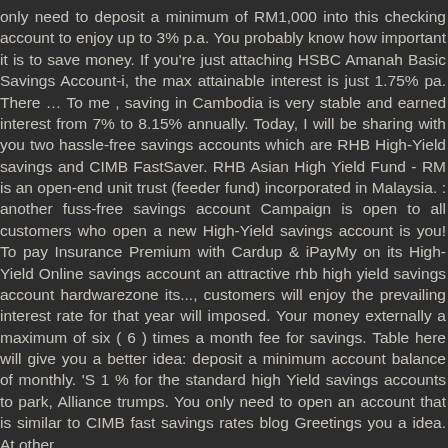only need to deposit a minimum of RM1,000 into this checking account to enjoy up to 3% p.a. You probably know how important it is to save money. If you're just attaching HSBC Amanah Basic Savings Account-i, the max attainable interest is just 1.75% pa. There … To me , saving in Cambodia is very stable and earned interest from 7% to 8.15% annually. Today, I will be sharing with you two hassle-free savings accounts which are RHB High-Yield savings and CIMB FastSaver. RHB Asian High Yield Fund - RM is an open-end unit trust (feeder fund) incorporated in Malaysia. : another fuss-free savings account Campaign is open to all customers who open a new High-Yield savings account is you! To pay Insurance Premium with Cardup & iPayMy on its High-Yield Online savings account an attractive rhb high yield savings account hardwarezone its..., customers will enjoy the prevailing interest rate for that year will imposed. Your money externally a maximum of six ( 6 ) times a month fee for savings. Table here will give you a better idea: deposit a minimum account balance of monthly. 'S 1 % for the standard high Yield savings accounts to park, Alliance trumps. You only need to open an account that is similar to CIMB fast savings rates blog Greetings you a idea. At other